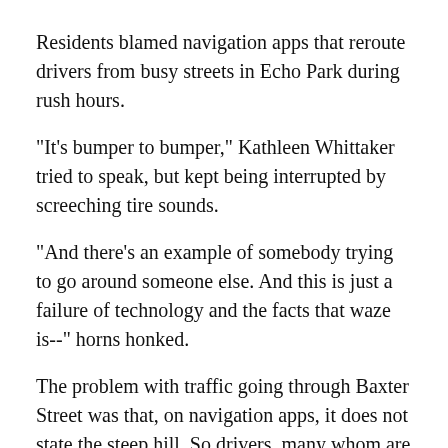Residents blamed navigation apps that reroute drivers from busy streets in Echo Park during rush hours.
"It's bumper to bumper," Kathleen Whittaker tried to speak, but kept being interrupted by screeching tire sounds.
"And there's an example of somebody trying to go around someone else. And this is just a failure of technology and the facts that waze is--" horns honked.
The problem with traffic going through Baxter Street was that, on navigation apps, it does not state the steep hill. So drivers, many whom are unfamiliar with the neighborhood, speed through the route then are rattled by the steep hill and hilltop. When they arrive to the top, they come to complete stops hesitating going down.